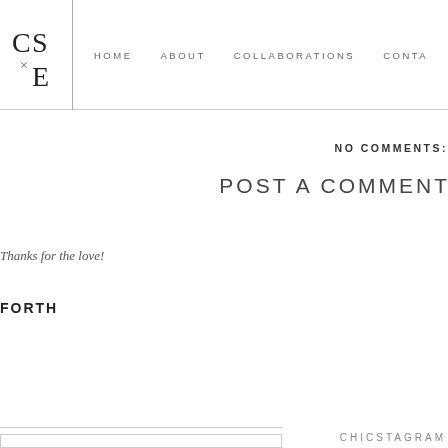CS×E | HOME   ABOUT   COLLABORATIONS   CONTA
NO COMMENTS:
POST A COMMENT
Thanks for the love!
FORTH
CHICSTAGRAM